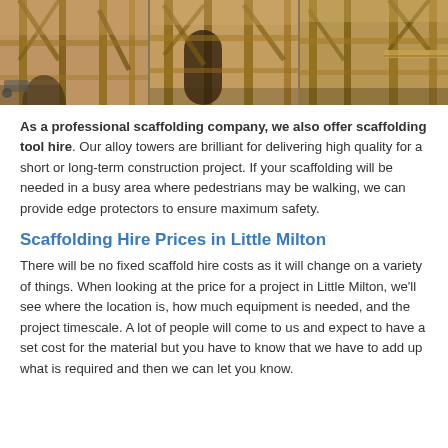[Figure (photo): Construction site photo showing wooden framing and scaffolding structure, composed of three panels side by side]
As a professional scaffolding company, we also offer scaffolding tool hire. Our alloy towers are brilliant for delivering high quality for a short or long-term construction project. If your scaffolding will be needed in a busy area where pedestrians may be walking, we can provide edge protectors to ensure maximum safety.
Scaffolding Hire Prices in Little Milton
There will be no fixed scaffold hire costs as it will change on a variety of things. When looking at the price for a project in Little Milton, we'll see where the location is, how much equipment is needed, and the project timescale. A lot of people will come to us and expect to have a set cost for the material but you have to know that we have to add up what is required and then we can let you know.